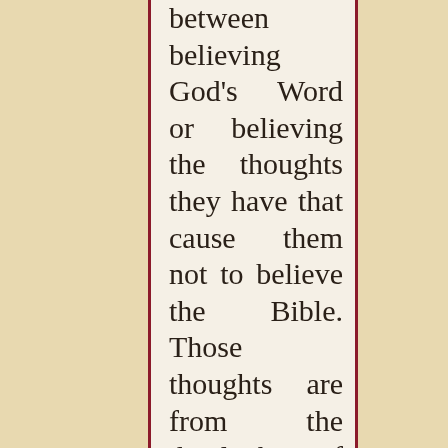between believing God's Word or believing the thoughts they have that cause them not to believe the Bible. Those thoughts are from the devil, but of course the people never understand this. The